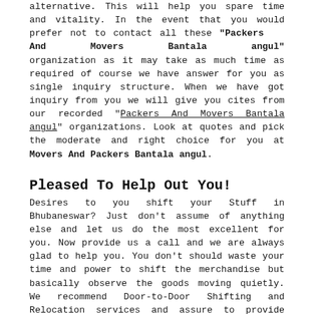alternative. This will help you spare time and vitality. In the event that you would prefer not to contact all these "Packers And Movers Bantala angul" organization as it may take as much time as required of course we have answer for you as single inquiry structure. When we have got inquiry from you we will give you cites from our recorded "Packers And Movers Bantala angul" organizations. Look at quotes and pick the moderate and right choice for you at Movers And Packers Bantala angul.
Pleased To Help Out You!
Desires to you shift your Stuff in Bhubaneswar? Just don't assume of anything else and let us do the most excellent for you. Now provide us a call and we are always glad to help you. You don't should waste your time and power to shift the merchandise but basically observe the goods moving quietly. We recommend Door-to-Door Shifting and Relocation services and assure to provide services with honesty and advanced quality. Our online directions and instructions are surely capable of help you better understand your relocation method. We provide only the best service